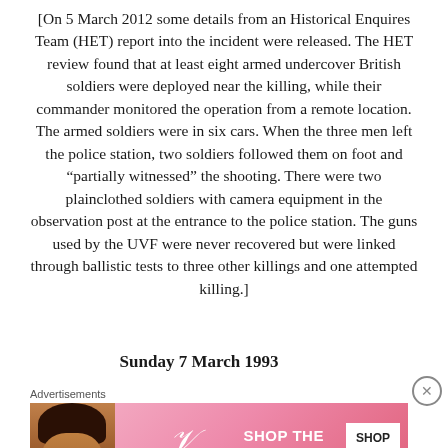[On 5 March 2012 some details from an Historical Enquires Team (HET) report into the incident were released. The HET review found that at least eight armed undercover British soldiers were deployed near the killing, while their commander monitored the operation from a remote location. The armed soldiers were in six cars. When the three men left the police station, two soldiers followed them on foot and “partially witnessed” the shooting. There were two plainclothed soldiers with camera equipment in the observation post at the entrance to the police station. The guns used by the UVF were never recovered but were linked through ballistic tests to three other killings and one attempted killing.]
Sunday 7 March 1993
Advertisements